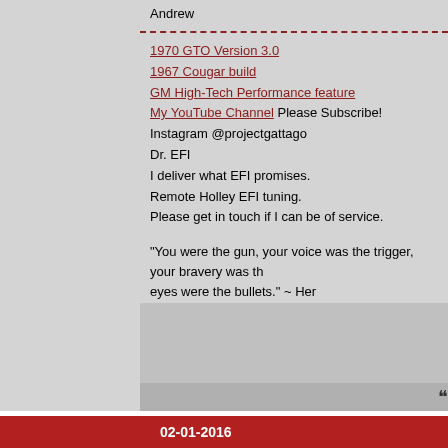Andrew
1970 GTO Version 3.0
1967 Cougar build
GM High-Tech Performance feature
My YouTube Channel Please Subscribe!
Instagram @projectgattago
Dr. EFI
I deliver what EFI promises.
Remote Holley EFI tuning.
Please get in touch if I can be of service.
"You were the gun, your voice was the trigger, your bravery was the eyes were the bullets." ~ Her
02-01-2016
Bugzilla
Registered User
Join Date:
Location:
Posts:
Andrew - Glad to see you on here too (especially as a Mod). I have